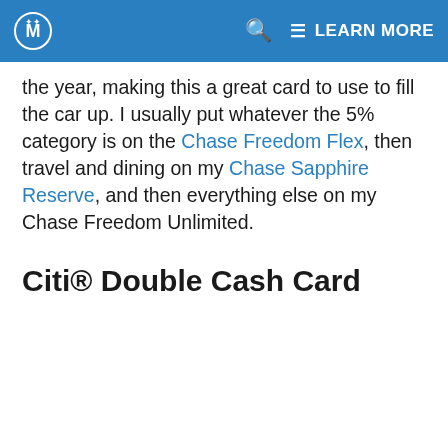LEARN MORE
the year, making this a great card to use to fill the car up. I usually put whatever the 5% category is on the Chase Freedom Flex, then travel and dining on my Chase Sapphire Reserve, and then everything else on my Chase Freedom Unlimited.
Citi® Double Cash Card